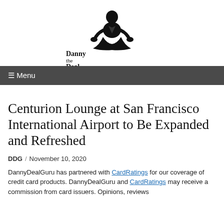[Figure (logo): Danny the Deal Guru logo - silhouette of a person in meditation pose with text 'Danny the Deal Guru']
≡ Menu
Centurion Lounge at San Francisco International Airport to Be Expanded and Refreshed
DDG / November 10, 2020
DannyDealGuru has partnered with CardRatings for our coverage of credit card products. DannyDealGuru and CardRatings may receive a commission from card issuers. Opinions, reviews